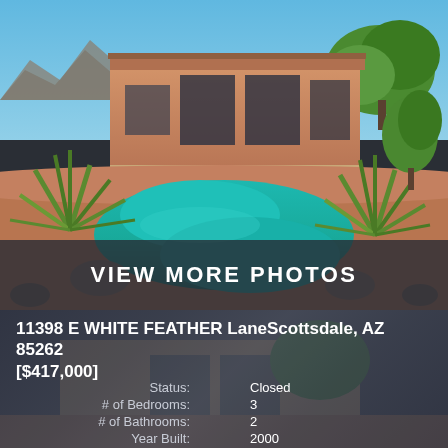[Figure (photo): Aerial/elevated exterior photo of a Southwest-style single-story home in Scottsdale, AZ with a large turquoise kidney-shaped pool, desert landscaping, agave plants, mountains in background, blue sky]
VIEW MORE PHOTOS
11398 E WHITE FEATHER LaneScottsdale, AZ 85262
[$417,000]
| Field | Value |
| --- | --- |
| Status: | Closed |
| # of Bedrooms: | 3 |
| # of Bathrooms: | 2 |
| Year Built: | 2000 |
| Subdivision: | DESERT DIAMOND |